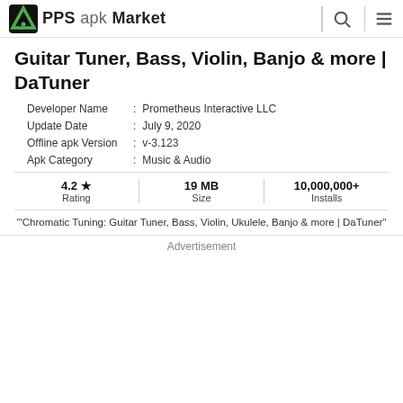APPS apk Market
Guitar Tuner, Bass, Violin, Banjo & more | DaTuner
| Field | Separator | Value |
| --- | --- | --- |
| Developer Name | : | Prometheus Interactive LLC |
| Update Date | : | July 9, 2020 |
| Offline apk Version | : | v-3.123 |
| Apk Category | : | Music & Audio |
4.2 ★ Rating | 19 MB Size | 10,000,000+ Installs
'"Chromatic Tuning: Guitar Tuner, Bass, Violin, Ukulele, Banjo & more | DaTuner"'
Advertisement